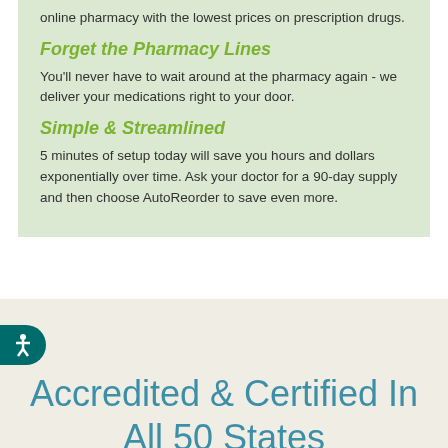online pharmacy with the lowest prices on prescription drugs.
Forget the Pharmacy Lines
You'll never have to wait around at the pharmacy again - we deliver your medications right to your door.
Simple & Streamlined
5 minutes of setup today will save you hours and dollars exponentially over time. Ask your doctor for a 90-day supply and then choose AutoReorder to save even more.
Accredited & Certified In All 50 States